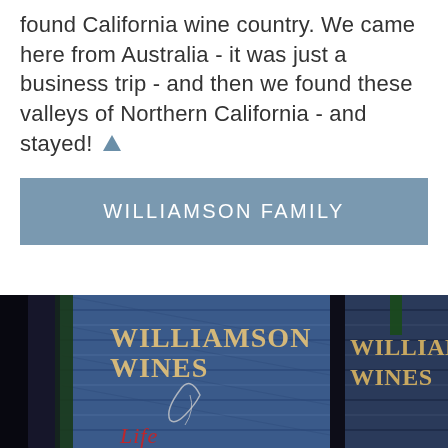found California wine country. We came here from Australia - it was just a business trip - and then we found these valleys of Northern California - and stayed! ▲
WILLIAMSON FAMILY
[Figure (photo): Two Williamson Wines bottles with blue rope-wrapped labels showing 'WILLIAMSON WINES' in gold/cream lettering on a dark background, with red cursive script partially visible at the bottom.]